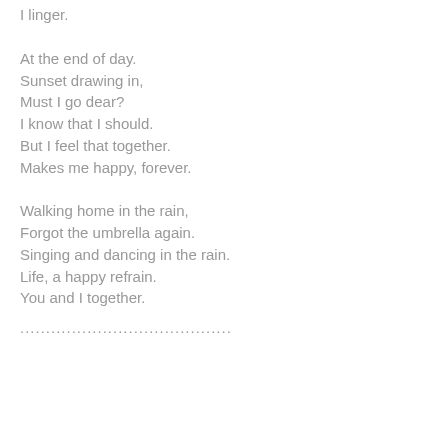I linger.
At the end of day.
Sunset drawing in,
Must I go dear?
I know that I should.
But I feel that together.
Makes me happy, forever.
Walking home in the rain,
Forgot the umbrella again.
Singing and dancing in the rain.
Life, a happy refrain.
You and I together.
......................................
.